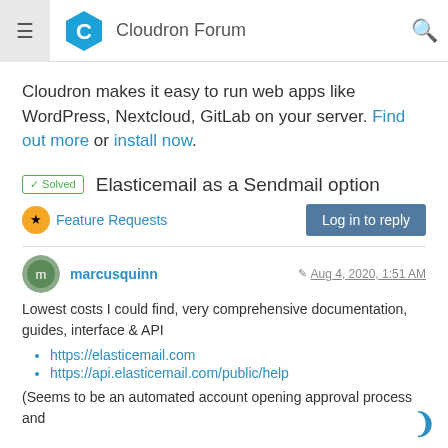Cloudron Forum
Cloudron makes it easy to run web apps like WordPress, Nextcloud, GitLab on your server. Find out more or install now.
✓ Solved  Elasticemail as a Sendmail option
Feature Requests
marcusquinn   Aug 4, 2020, 1:51 AM
Lowest costs I could find, very comprehensive documentation, guides, interface & API
https://elasticemail.com
https://api.elasticemail.com/public/help
(Seems to be an automated account opening approval process and